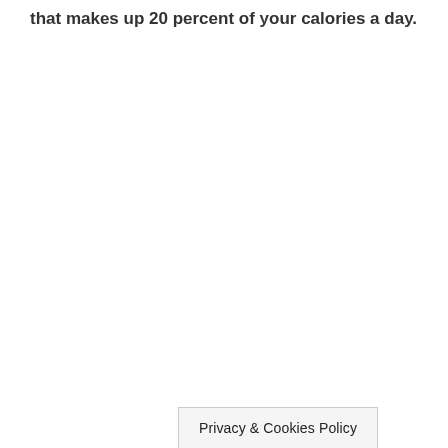that makes up 20 percent of your calories a day.
Privacy & Cookies Policy